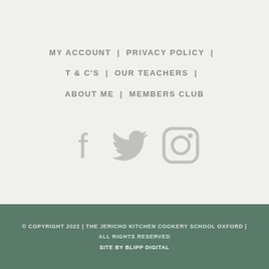MY ACCOUNT | PRIVACY POLICY | T & C'S | OUR TEACHERS | ABOUT ME | MEMBERS CLUB
[Figure (infographic): Three social media icons: Facebook, Twitter, Instagram, rendered in light grey]
© COPYRIGHT 2022 | THE JERICHO KITCHEN COOKERY SCHOOL OXFORD | ALL RIGHTS RESERVED
SITE BY BLIPP DIGITAL